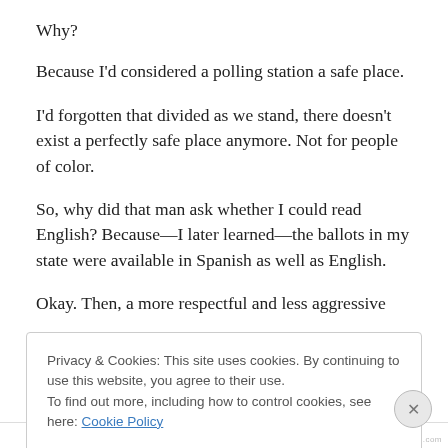Why?
Because I’d considered a polling station a safe place.
I’d forgotten that divided as we stand, there doesn’t exist a perfectly safe place anymore. Not for people of color.
So, why did that man ask whether I could read English? Because—I later learned—the ballots in my state were available in Spanish as well as English.
Okay. Then, a more respectful and less aggressive
Privacy & Cookies: This site uses cookies. By continuing to use this website, you agree to their use.
To find out more, including how to control cookies, see here: Cookie Policy
Close and accept